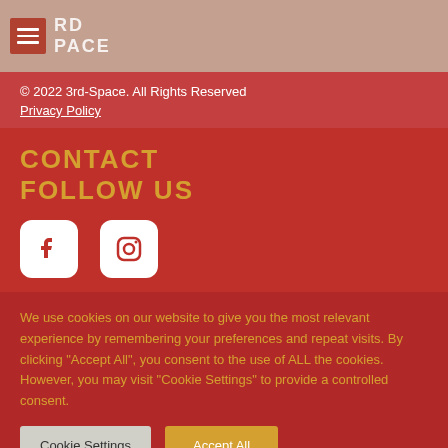3rd-Space
© 2022 3rd-Space. All Rights Reserved
Privacy Policy
CONTACT
FOLLOW US
[Figure (logo): Facebook icon - white rounded square with Facebook 'f' logo in red]
[Figure (logo): Instagram icon - white rounded square with Instagram camera logo in red]
We use cookies on our website to give you the most relevant experience by remembering your preferences and repeat visits. By clicking "Accept All", you consent to the use of ALL the cookies. However, you may visit "Cookie Settings" to provide a controlled consent.
Cookie Settings
Accept All